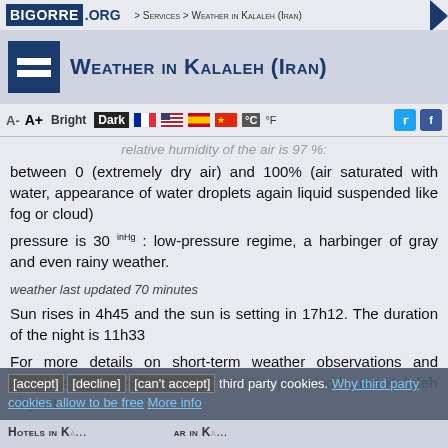BIGORRE .ORG > Services > Weather in Kalaleh (Iran)
Weather in Kalaleh (Iran)
relative humidity of the air is 97 %: between 0 (extremely dry air) and 100% (air saturated with water, appearance of water droplets again liquid suspended like fog or cloud)
pressure is 30 inHg : low-pressure regime, a harbinger of gray and even rainy weather.
weather last updated 70 minutes
Sun rises in 4h45 and the sun is setting in 17h12. The duration of the night is 11h33
For more details on short-term weather observations and forecasts, see the aeronautical weather provided by the Kalaleh airport
[accept] [decline] [can't accept] third party cookies. Why third party cookies allow to be free More info
Hotels in K... ar in K...